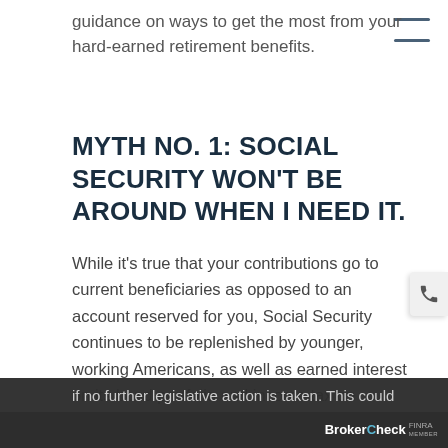guidance on ways to get the most from your hard-earned retirement benefits.
MYTH NO. 1: SOCIAL SECURITY WON'T BE AROUND WHEN I NEED IT.
While it's true that your contributions go to current beneficiaries as opposed to an account reserved for you, Social Security continues to be replenished by younger, working Americans, as well as earned interest on its bond portfolio and income tax on benefits paid to higher-income retirees. However, the trustees have projected that any existing surplus could be depleted sometime between 2033 and 2037 if no further legislative action is taken. This could
BrokerCheck FINRA